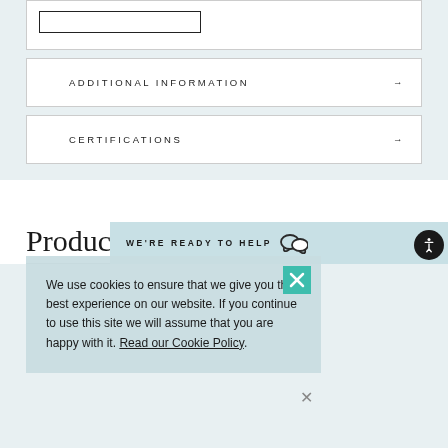[Figure (screenshot): Partial white box with inner bordered rectangle visible at top of page]
ADDITIONAL INFORMATION
CERTIFICATIONS
Product Reviews
[Figure (screenshot): Cookie consent popup overlay with teal close button and X button. Text: We use cookies to ensure that we give you the best experience on our website. If you continue to use this site we will assume that you are happy with it. Read our Cookie Policy.]
We use cookies to ensure that we give you the best experience on our website. If you continue to use this site we will assume that you are happy with it. Read our Cookie Policy.
WE'RE READY TO HELP
[Figure (screenshot): Accessibility button (person in circle) in bottom right corner]